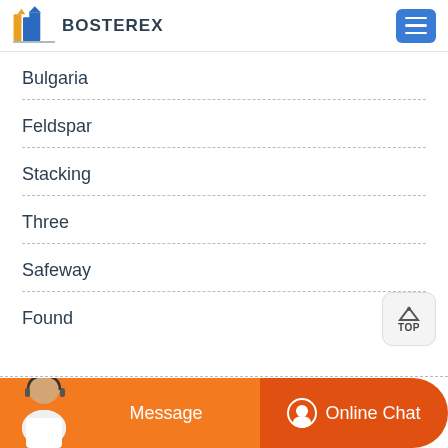BOSTEREX
Bulgaria
Feldspar
Stacking
Three
Safeway
Found
Message   Online Chat